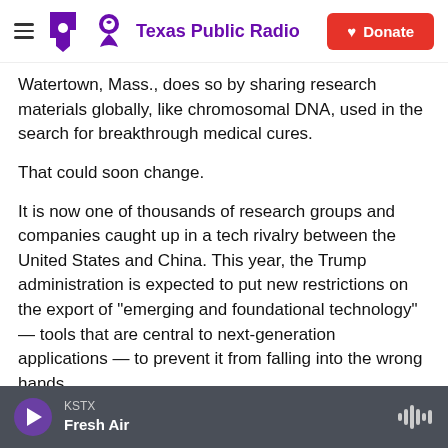Texas Public Radio | Donate
Watertown, Mass., does so by sharing research materials globally, like chromosomal DNA, used in the search for breakthrough medical cures.
That could soon change.
It is now one of thousands of research groups and companies caught up in a tech rivalry between the United States and China. This year, the Trump administration is expected to put new restrictions on the export of "emerging and foundational technology" — tools that are central to next-generation applications — to prevent it from falling into the wrong hands.
KSTX | Fresh Air